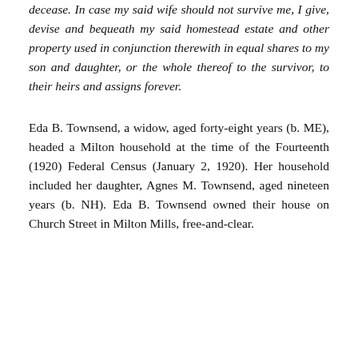decease. In case my said wife should not survive me, I give, devise and bequeath my said homestead estate and other property used in conjunction therewith in equal shares to my son and daughter, or the whole thereof to the survivor, to their heirs and assigns forever.
Eda B. Townsend, a widow, aged forty-eight years (b. ME), headed a Milton household at the time of the Fourteenth (1920) Federal Census (January 2, 1920). Her household included her daughter, Agnes M. Townsend, aged nineteen years (b. NH). Eda B. Townsend owned their house on Church Street in Milton Mills, free-and-clear.